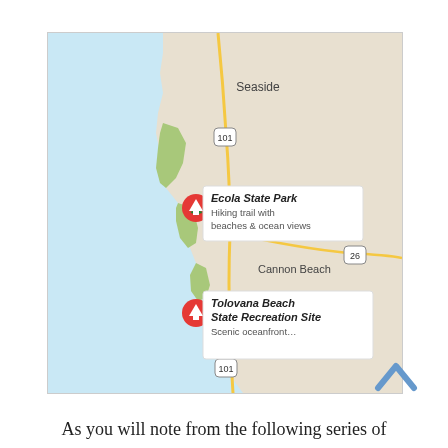[Figure (map): Google Maps screenshot showing the Oregon coast near Cannon Beach and Seaside. Two red markers indicate: (1) Ecola State Park – 'Hiking trail with beaches & ocean views', and (2) Tolovana Beach State Recreation Site – 'Scenic oceanfront…'. Route 101 and Route 26 are labeled. The Pacific Ocean is shown in blue on the left.]
As you will note from the following series of